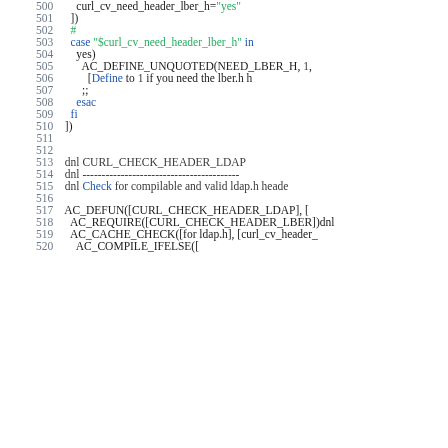[Figure (screenshot): Source code listing showing shell/autoconf script lines 500-520, with syntax highlighting. Line numbers in gray on left, code with colored keywords (blue, red/green, dark) on right.]